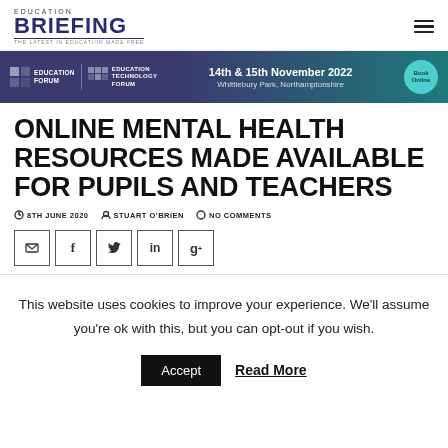EDUCATION BRIEFING — THE LATEST IN EDUCATION MADE FREE
[Figure (infographic): Education Forum and Education Technology Forum banner advertisement for 14th & 15th November 2022 at Whittlebury Park, Northamptonshire with Book Online button]
ONLINE MENTAL HEALTH RESOURCES MADE AVAILABLE FOR PUPILS AND TEACHERS
8TH JUNE 2020   STUART O'BRIEN   NO COMMENTS
[Figure (infographic): Social sharing icons: email, facebook, twitter, linkedin, google+]
This website uses cookies to improve your experience. We'll assume you're ok with this, but you can opt-out if you wish.
Accept   Read More